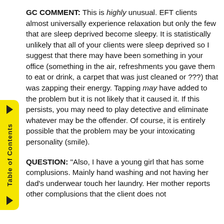GC COMMENT: This is highly unusual. EFT clients almost universally experience relaxation but only the few that are sleep deprived become sleepy. It is statistically unlikely that all of your clients were sleep deprived so I suggest that there may have been something in your office (something in the air, refreshments you gave them to eat or drink, a carpet that was just cleaned or ???) that was zapping their energy. Tapping may have added to the problem but it is not likely that it caused it. If this persists, you may need to play detective and eliminate whatever may be the offender. Of course, it is entirely possible that the problem may be your intoxicating personality (smile).
QUESTION: "Also, I have a young girl that has some complusions. Mainly hand washing and not having her dad's underwear touch her laundry. Her mother reports other complusions that the client does not acknowledge, as listed above, but the...